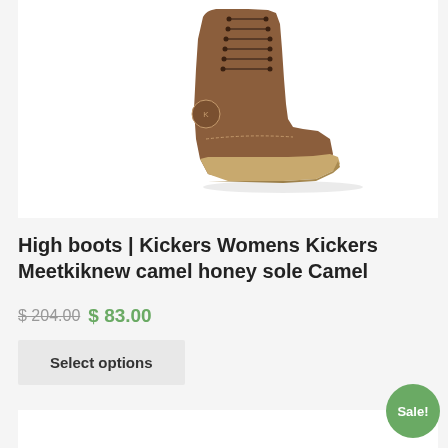[Figure (photo): Brown leather lace-up high boot (Kickers Womens Meetkiknew) with honey-colored sole, displayed on white background, top portion cropped]
High boots | Kickers Womens Kickers Meetkiknew camel honey sole Camel
$ 204.00 $ 83.00
Select options
Sale!